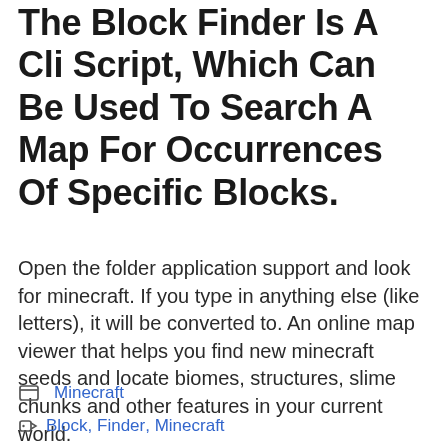The Block Finder Is A Cli Script, Which Can Be Used To Search A Map For Occurrences Of Specific Blocks.
Open the folder application support and look for minecraft. If you type in anything else (like letters), it will be converted to. An online map viewer that helps you find new minecraft seeds and locate biomes, structures, slime chunks and other features in your current world.
Minecraft
Block, Finder, Minecraft